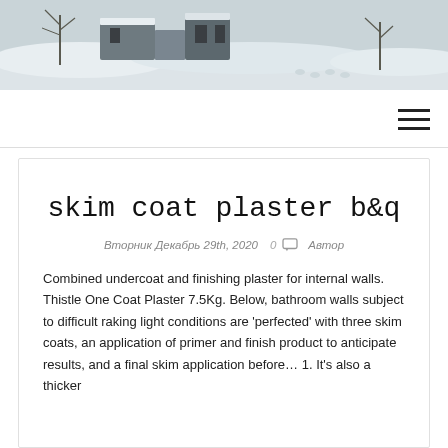[Figure (photo): Snowy outdoor scene with structures covered in snow, trees visible in background, winter landscape.]
skim coat plaster b&q
Вторник Декабрь 29th, 2020  0  Автор
Combined undercoat and finishing plaster for internal walls. Thistle One Coat Plaster 7.5Kg. Below, bathroom walls subject to difficult raking light conditions are 'perfected' with three skim coats, an application of primer and finish product to anticipate results, and a final skim application before… 1. It's also a thicker